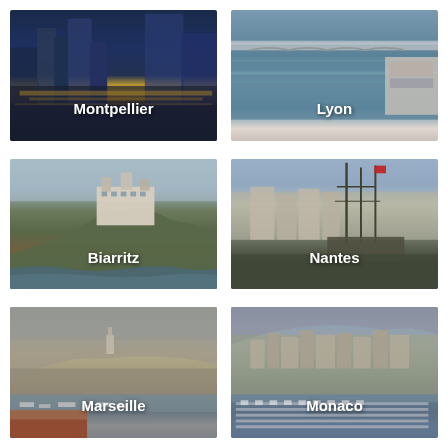[Figure (photo): Aerial/waterfront evening photo of Montpellier city with water reflections and modern buildings]
[Figure (photo): Aerial photo of Lyon showing a bridge over a river with boats and docks]
[Figure (photo): Coastal photo of Biarritz showing rocky cliffs with a large villa/hotel building]
[Figure (photo): Harbor photo of Nantes with tall sailing ships docked along the waterfront]
[Figure (photo): Panoramic aerial view of Marseille harbor with boats and hillside cityscape]
[Figure (photo): Aerial view of Monaco showing the densely built hillside city and marina with many boats]